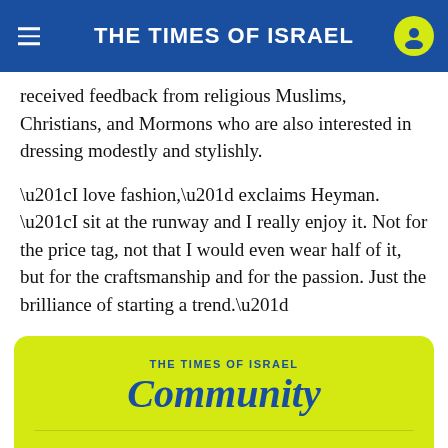THE TIMES OF ISRAEL
received feedback from religious Muslims, Christians, and Mormons who are also interested in dressing modestly and stylishly.
“I love fashion,” exclaims Heyman. “I sit at the runway and I really enjoy it. Not for the price tag, not that I would even wear half of it, but for the craftsmanship and for the passion. Just the brilliance of starting a trend.”
[Figure (logo): The Times of Israel Community logo on yellow-green background with text 'Where (real) change...' partially visible]